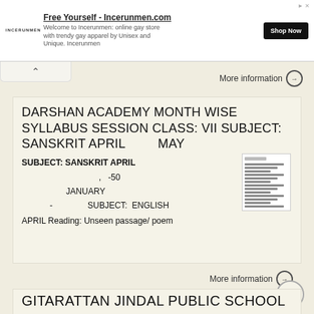[Figure (screenshot): Advertisement banner for Incerunmen.com - Free Yourself. Shows logo, description, and Shop Now button.]
DARSHAN ACADEMY MONTH WISE SYLLABUS SESSION CLASS: VII SUBJECT: SANSKRIT APRIL        MAY
SUBJECT: SANSKRIT APRIL
, -50
JANUARY
- SUBJECT: ENGLISH
APRIL Reading: Unseen passage/ poem
GITARATTAN JINDAL PUBLIC SCHOOL